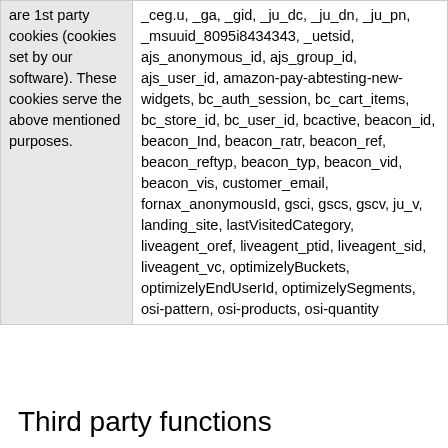| are 1st party cookies (cookies set by our software). These cookies serve the above mentioned purposes. | _ceg.u, _ga, _gid, _ju_dc, _ju_dn, _ju_pn, _msuuid_8095i8434343, _uetsid, ajs_anonymous_id, ajs_group_id, ajs_user_id, amazon-pay-abtesting-new-widgets, bc_auth_session, bc_cart_items, bc_store_id, bc_user_id, bcactive, beacon_id, beacon_Ind, beacon_ratr, beacon_ref, beacon_reftyp, beacon_typ, beacon_vid, beacon_vis, customer_email, fornax_anonymousId, gsci, gscs, gscv, ju_v, landing_site, lastVisitedCategory, liveagent_oref, liveagent_ptid, liveagent_sid, liveagent_vc, optimizelyBuckets, optimizelyEndUserId, optimizelySegments, osi-pattern, osi-products, osi-quantity |
Third party functions